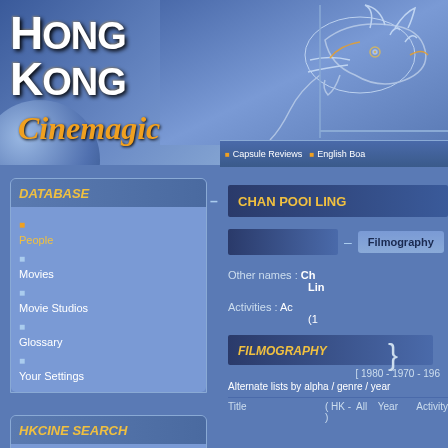[Figure (logo): Hong Kong Cinemagic website header with logo text 'HONG KONG Cinemagic' and dragon illustration]
Capsule Reviews  English Boa...
DATABASE
People
Movies
Movie Studios
Glossary
Your Settings
HKCINE SEARCH
>> Help
HK TALENTS
CHAN POOI LING
Filmography
Other names : Ch... Lin...
Activities : Ac... (1...)
FILMOGRAPHY
[ 1980 - 1970 - 196...
Alternate lists by alpha / genre / year
Title  ( HK -  All )          Year  Activity